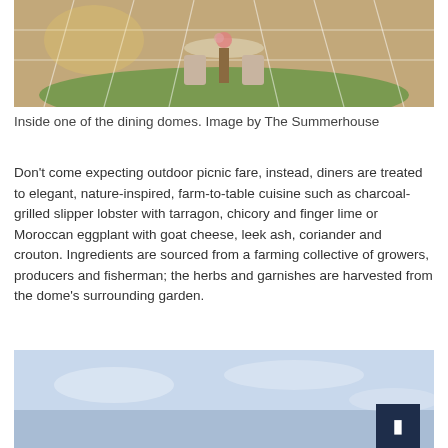[Figure (photo): Interior of a geodesic dining dome with a round table, floral chairs, green turf floor, and warm yellow lighting]
Inside one of the dining domes. Image by The Summerhouse
Don’t come expecting outdoor picnic fare, instead, diners are treated to elegant, nature-inspired, farm-to-table cuisine such as charcoal-grilled slipper lobster with tarragon, chicory and finger lime or Moroccan eggplant with goat cheese, leek ash, coriander and crouton. Ingredients are sourced from a farming collective of growers, producers and fisherman; the herbs and garnishes are harvested from the dome’s surrounding garden.
[Figure (photo): Outdoor photo showing a light blue sky with soft clouds, partial view of a scene below]